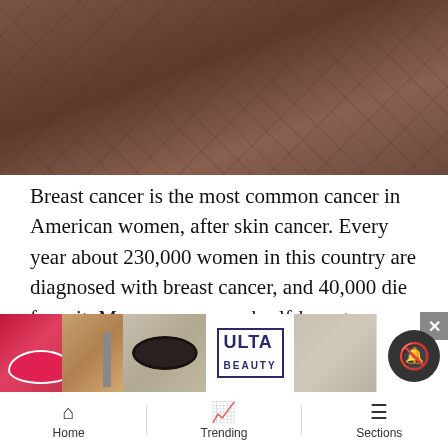[Figure (photo): Close-up photo of brown fabric or animal skin texture]
Breast cancer is the most common cancer in American women, after skin cancer. Every year about 230,000 women in this country are diagnosed with breast cancer, and 40,000 die from it. Mammograms and self-breast exams supposedly lead to early detection, but in reality this is “late detection” because breast cancer has been present for years — up to 4 decades — by the time it is diagnosed. Some of the 2 billion cells in our bodies are always mutating. We evolved to eat plants, and plants contain micro[nutrients that fight mutating cells befe they p...] ...ity.
[Figure (photo): Ulta Beauty advertisement banner with makeup imagery including lips, makeup brush, eye, Ulta logo, eyes, and Shop Now button]
Home   Trending   Sections